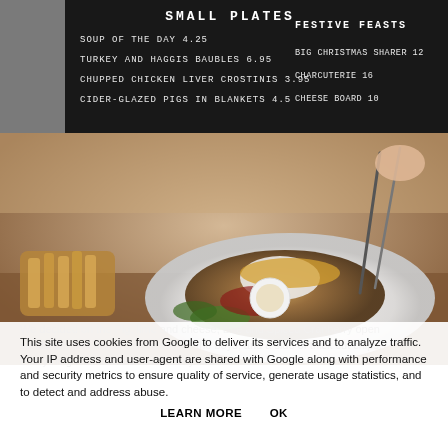[Figure (photo): Restaurant chalkboard menu showing Small Plates (Soup of the Day 4.25, Turkey and Haggis Baubles 6.95, Chupped Chicken Liver Crostinis 3.95, Cider-Glazed Pigs in Blankets 4.5) and Festive Feasts (Big Christmas Sharer 12, Charcuterie 16, Cheese Board 10)]
[Figure (photo): Food photography showing a restaurant dish on a white plate with salad, topped with crispy garnishes, alongside a bowl of thick-cut chips. People dining in background.]
This site uses cookies from Google to deliver its services and to analyze traffic. Your IP address and user-agent are shared with Google along with performance and security metrics to ensure quality of service, generate usage statistics, and to detect and address abuse.
LEARN MORE    OK
We decided on the Pig, lime and cheese, Brie and Spiced Cranberry open sandwich, and macaroni cheese for the boys, and a side of thick cut chips. Everything was delicious with lovely attention to